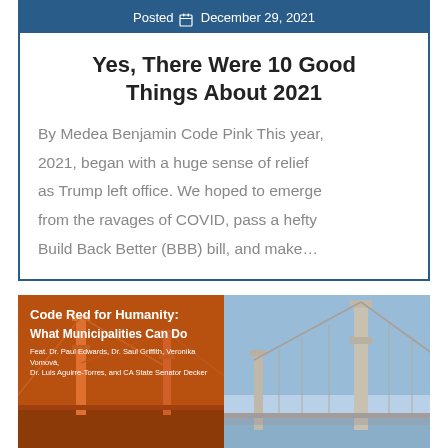Posted December 29, 2021
Yes, There Were 10 Good Things About 2021
By Medea Benjamin Code Pink This year, 2021, began with a huge sense of relief as Trump left office. We hoped to emerge from the ravages of COVID, pass a hefty Build Back Better (BBB) bill, and make…
[Figure (photo): Split image: left half shows San Francisco Bay Bridge with orange-brown tint and text overlay reading 'Code Red for Humanity: What Municipalities Can Do' featuring Dr. Paul Edwards, Dr. Saul Griffith, Veronika Vomová, Dr. Luis Aguirre-Torres, and CA State Senator Decker. Right half shows the same bridge in natural blue-sky daylight tones.]